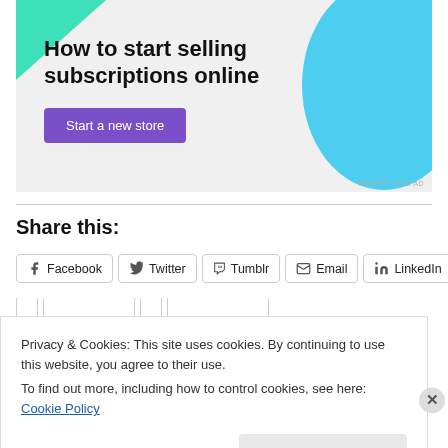[Figure (illustration): Advertisement banner with teal triangle decoration top-left, sky-blue circle decoration top-right on light gray background. Text: 'How to start selling subscriptions online' with a purple 'Start a new store' button. 'REPORT THIS AD' link bottom right.]
Share this:
Facebook  Twitter  Tumblr  Email  LinkedIn
Privacy & Cookies: This site uses cookies. By continuing to use this website, you agree to their use.
To find out more, including how to control cookies, see here: Cookie Policy
Close and accept